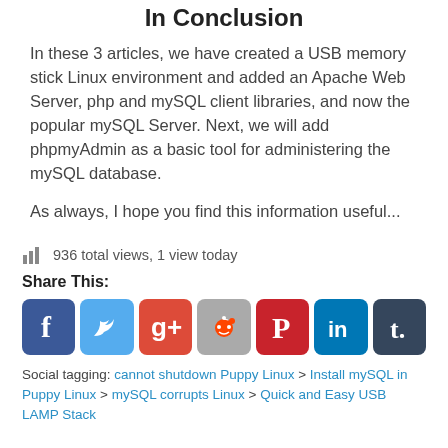In Conclusion
In these 3 articles, we have created a USB memory stick Linux environment and added an Apache Web Server, php and mySQL client libraries, and now the popular mySQL Server. Next, we will add phpmyAdmin as a basic tool for administering the mySQL database.
As always, I hope you find this information useful...
936 total views, 1 view today
Share This:
[Figure (other): Social media share icons: Facebook, Twitter, Google+, Reddit, Pinterest, LinkedIn, Tumblr]
Social tagging: cannot shutdown Puppy Linux > Install mySQL in Puppy Linux > mySQL corrupts Linux > Quick and Easy USB LAMP Stack